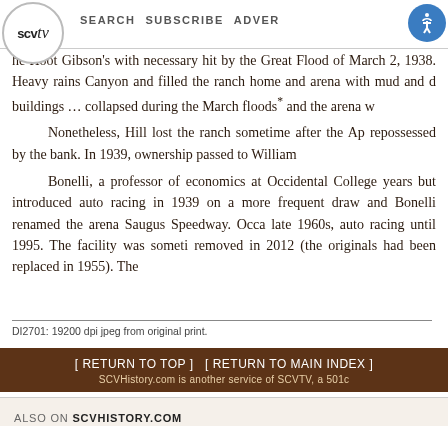scvtv | SEARCH | SUBSCRIBE | ADVERTISE
he Hoot Gibson's with necessary hit by the Great Flood of March 2, 1938. Heavy rains Canyon and filled the ranch home and arena with mud and debris. buildings … collapsed during the March floods* and the arena w
Nonetheless, Hill lost the ranch sometime after the April repossessed by the bank. In 1939, ownership passed to William
Bonelli, a professor of economics at Occidental College, years but introduced auto racing in 1939 on a more frequent draw and Bonelli renamed the arena Saugus Speedway. Occasionally late 1960s, auto racing until 1995. The facility was sometimes removed in 2012 (the originals had been replaced in 1955). The
DI2701: 19200 dpi jpeg from original print.
[ RETURN TO TOP ]   [ RETURN TO MAIN INDEX ]   SCVHistory.com is another service of SCVTV, a 501c
ALSO ON SCVHISTORY.COM